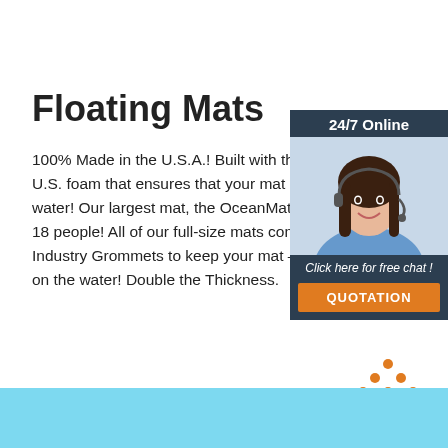Floating Mats
100% Made in the U.S.A.! Built with the high U.S. foam that ensures that your mat lays FL water! Our largest mat, the OceanMat Deluxe 18 people! All of our full-size mats come with Industry Grommets to keep your mat – and y on the water! Double the Thickness.
[Figure (photo): Customer service representative woman with headset, chat widget with dark navy background, '24/7 Online' header, 'Click here for free chat!' text, and orange QUOTATION button.]
Get Price
[Figure (logo): TOP icon with orange dots arranged in triangle above orange text 'TOP']
[Figure (other): Light blue horizontal bar at bottom of page]